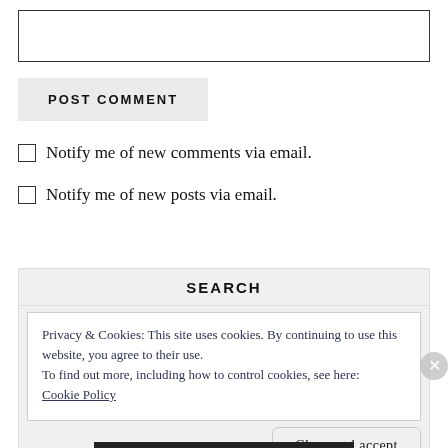[Figure (other): Empty text input box with black border]
POST COMMENT
Notify me of new comments via email.
Notify me of new posts via email.
SEARCH
Privacy & Cookies: This site uses cookies. By continuing to use this website, you agree to their use.
To find out more, including how to control cookies, see here:
Cookie Policy
Close and accept